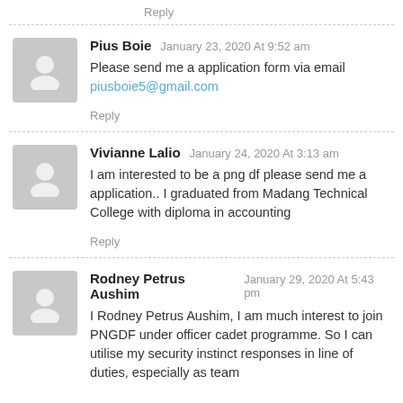Reply
Pius Boie   January 23, 2020 At 9:52 am
Please send me a application form via email
piusboie5@gmail.com
Reply
Vivianne Lalio   January 24, 2020 At 3:13 am
I am interested to be a png df please send me a application.. I graduated from Madang Technical College with diploma in accounting
Reply
Rodney Petrus Aushim   January 29, 2020 At 5:43 pm
I Rodney Petrus Aushim, I am much interest to join PNGDF under officer cadet programme. So I can utilise my security instinct responses in line of duties, especially as team